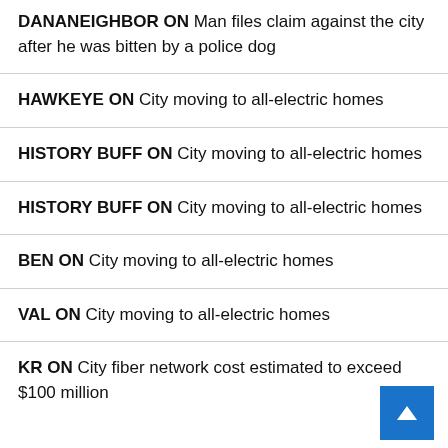DANANEIGHBOR ON Man files claim against the city after he was bitten by a police dog
HAWKEYE ON City moving to all-electric homes
HISTORY BUFF ON City moving to all-electric homes
HISTORY BUFF ON City moving to all-electric homes
BEN ON City moving to all-electric homes
VAL ON City moving to all-electric homes
KR ON City fiber network cost estimated to exceed $100 million